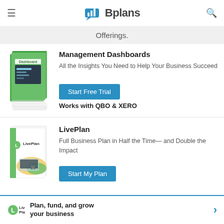Bplans
Offerings.
Management Dashboards
All the Insights You Need to Help Your Business Succeed
Start Free Trial
Works with QBO & XERO
LivePlan
Full Business Plan in Half the Time— and Double the Impact
Start My Plan
Plan, fund, and grow your business